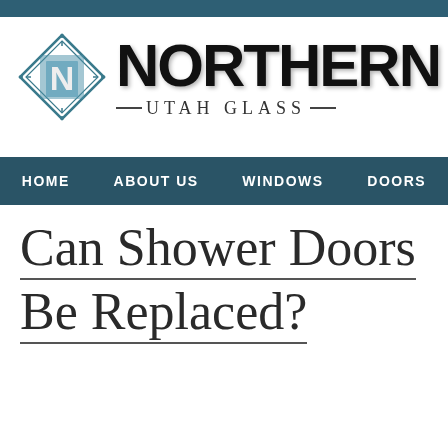[Figure (logo): Northern Utah Glass logo with shield/compass icon and bold text]
HOME | ABOUT US | WINDOWS | DOORS
Can Shower Doors Be Replaced?